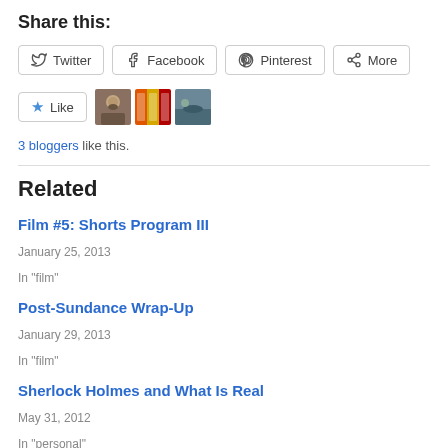Share this:
Twitter  Facebook  Pinterest  More
Like  3 bloggers like this.
Related
Film #5: Shorts Program III
January 25, 2013
In "film"
Post-Sundance Wrap-Up
January 29, 2013
In "film"
Sherlock Holmes and What Is Real
May 31, 2012
In "personal"